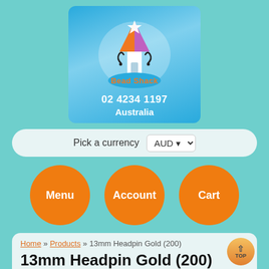[Figure (logo): Bead Shack logo on blue background with stylized house/tower illustration, text '02 4234 1197' and 'Australia']
Pick a currency  AUD
Menu
Account
Cart
Home » Products » 13mm Headpin Gold (200)
13mm Headpin Gold (200)